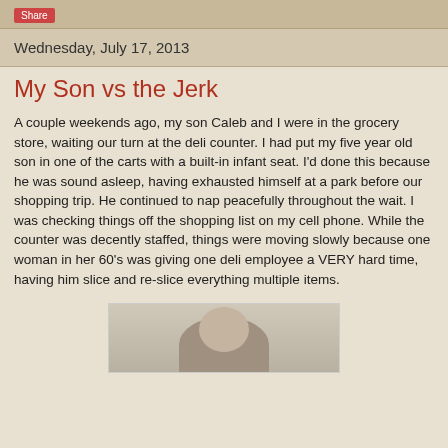Share
Wednesday, July 17, 2013
My Son vs the Jerk
A couple weekends ago, my son Caleb and I were in the grocery store, waiting our turn at the deli counter. I had put my five year old son in one of the carts with a built-in infant seat. I'd done this because he was sound asleep, having exhausted himself at a park before our shopping trip. He continued to nap peacefully throughout the wait. I was checking things off the shopping list on my cell phone. While the counter was decently staffed, things were moving slowly because one woman in her 60's was giving one deli employee a VERY hard time, having him slice and re-slice everything multiple items.
[Figure (photo): Photo of a child in a grocery store setting]